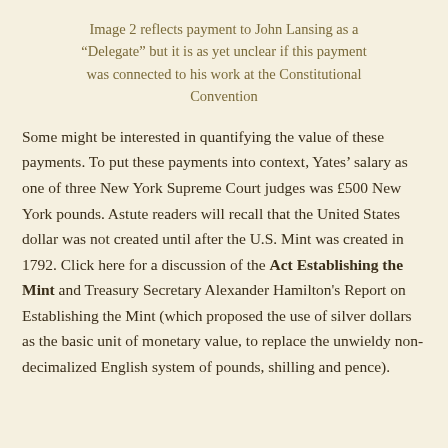Image 2 reflects payment to John Lansing as a “Delegate” but it is as yet unclear if this payment was connected to his work at the Constitutional Convention
Some might be interested in quantifying the value of these payments. To put these payments into context, Yates’ salary as one of three New York Supreme Court judges was £500 New York pounds. Astute readers will recall that the United States dollar was not created until after the U.S. Mint was created in 1792. Click here for a discussion of the Act Establishing the Mint and Treasury Secretary Alexander Hamilton’s Report on Establishing the Mint (which proposed the use of silver dollars as the basic unit of monetary value, to replace the unwieldy non-decimalized English system of pounds, shilling and pence).